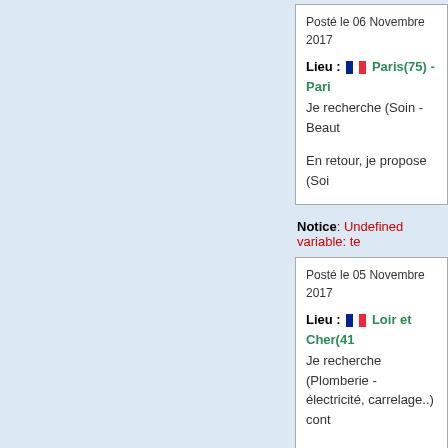Posté le 06 Novembre 2017
Lieu : Paris(75) - Paris
Je recherche (Soin - Beaut...
En retour, je propose (Soi...
Notice: Undefined variable: te
Posté le 05 Novembre 2017
Lieu : Loir et Cher(41...
Je recherche (Plomberie - électricité, carrelage..) cont...
En retour, je propose (Soi...
Notice: Undefined variable: te
Posté le 05 Novembre 2017